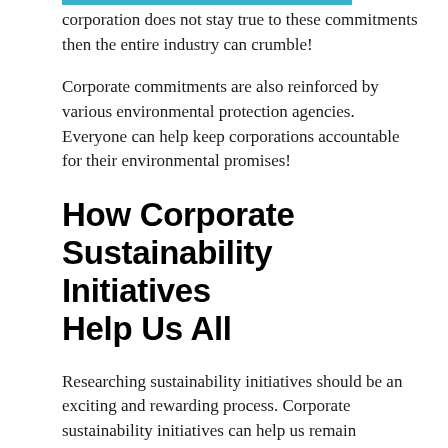corporation does not stay true to these commitments then the entire industry can crumble!
Corporate commitments are also reinforced by various environmental protection agencies. Everyone can help keep corporations accountable for their environmental promises!
How Corporate Sustainability Initiatives Help Us All
Researching sustainability initiatives should be an exciting and rewarding process. Corporate sustainability initiatives can help us remain